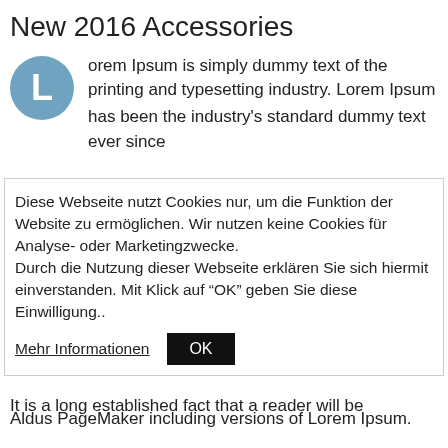New 2016 Accessories
orem Ipsum is simply dummy text of the printing and typesetting industry. Lorem Ipsum has been the industry's standard dummy text ever since
Diese Webseite nutzt Cookies nur, um die Funktion der Website zu ermöglichen. Wir nutzen keine Cookies für Analyse- oder Marketingzwecke.
Durch die Nutzung dieser Webseite erklären Sie sich hiermit einverstanden. Mit Klick auf "OK" geben Sie diese Einwilligung..
Mehr Informationen   OK
more recently with desktop publishing software like Aldus PageMaker including versions of Lorem Ipsum.
It is a long established fact that a reader will be distracted by the readable content of a page when looking at its layout. The point of using Lorem Ipsum is